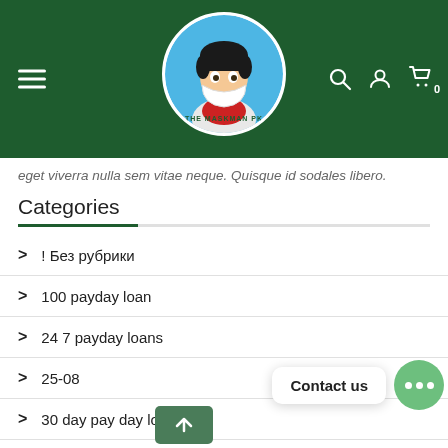[Figure (screenshot): Website header with dark green background, hamburger menu icon on left, The Maskman PK logo in center (circular logo with cartoon character wearing a mask), search icon, user icon, and cart icon with 0 badge on right]
eget viverra nulla sem vitae neque. Quisque id sodales libero.
Categories
! Без рубрики
100 payday loan
24 7 payday loans
25-08
30 day pay day loans
30 day payday loans
[Figure (screenshot): Contact us chat bubble overlay with green chat button showing three dots, and a back-to-top arrow button]